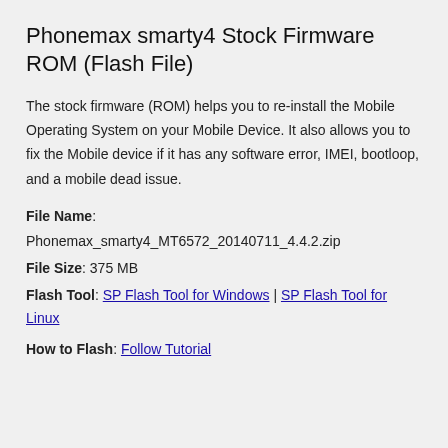Phonemax smarty4 Stock Firmware ROM (Flash File)
The stock firmware (ROM) helps you to re-install the Mobile Operating System on your Mobile Device. It also allows you to fix the Mobile device if it has any software error, IMEI, bootloop, and a mobile dead issue.
File Name: Phonemax_smarty4_MT6572_20140711_4.4.2.zip
File Size: 375 MB
Flash Tool: SP Flash Tool for Windows | SP Flash Tool for Linux
How to Flash: Follow Tutorial